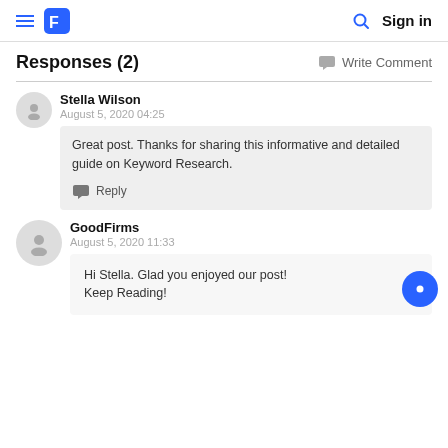Sign in
Responses (2)
Write Comment
Stella Wilson
August 5, 2020 04:25
Great post. Thanks for sharing this informative and detailed guide on Keyword Research.
Reply
GoodFirms
August 5, 2020 11:33
Hi Stella. Glad you enjoyed our post! Keep Reading!